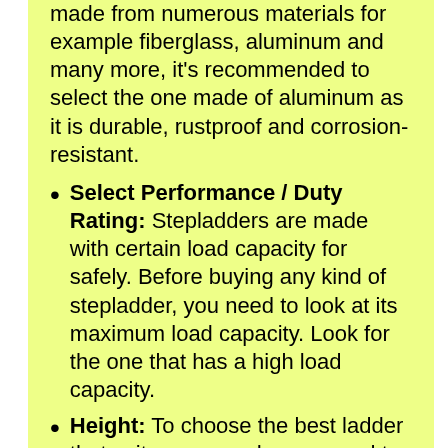made from numerous materials for example fiberglass, aluminum and many more, it's recommended to select the one made of aluminum as it is durable, rustproof and corrosion-resistant.
Select Performance / Duty Rating: Stepladders are made with certain load capacity for safely. Before buying any kind of stepladder, you need to look at its maximum load capacity. Look for the one that has a high load capacity.
Height: To choose the best ladder that suits your needs, you need to determine the place height that you are going to use the ladder. This will